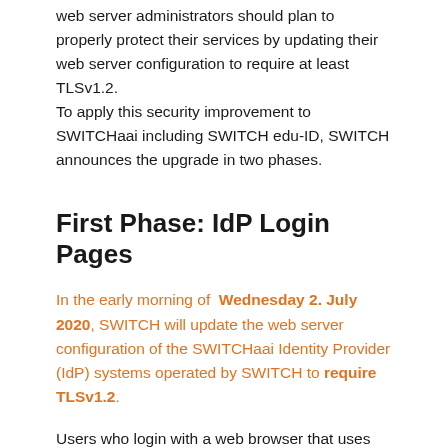web server administrators should plan to properly protect their services by updating their web server configuration to require at least TLSv1.2. To apply this security improvement to SWITCHaai including SWITCH edu-ID, SWITCH announces the upgrade in two phases.
First Phase: IdP Login Pages
In the early morning of Wednesday 2. July 2020, SWITCH will update the web server configuration of the SWITCHaai Identity Provider (IdP) systems operated by SWITCH to require TLSv1.2.
Users who login with a web browser that uses one of the outdated security protocols TLSv1.0 and TLSv1.1